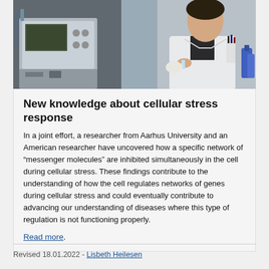[Figure (photo): A researcher in a white lab coat standing next to laboratory equipment including what appears to be a chromatography or scientific instrument setup. The photo is taken in a laboratory setting.]
New knowledge about cellular stress response
In a joint effort, a researcher from Aarhus University and an American researcher have uncovered how a specific network of “messenger molecules” are inhibited simultaneously in the cell during cellular stress. These findings contribute to the understanding of how the cell regulates networks of genes during cellular stress and could eventually contribute to advancing our understanding of diseases where this type of regulation is not functioning properly.
Read more.
Revised 18.01.2022 - Lisbeth Heilesen